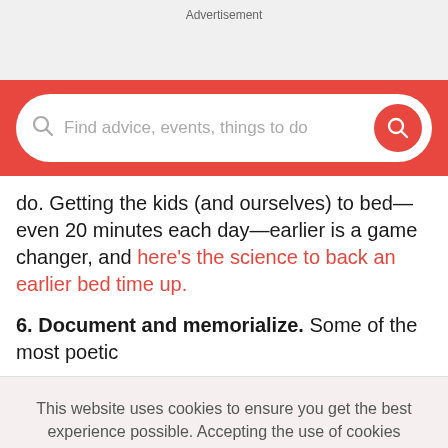Advertisement
[Figure (other): Red search bar with placeholder text 'Find advice, events, things to do' and a red circular search button on the right]
do. Getting the kids (and ourselves) to bed—even 20 minutes each day—earlier is a game changer, and here's the science to back an earlier bed time up.
6. Document and memorialize. Some of the most poetic
This website uses cookies to ensure you get the best experience possible. Accepting the use of cookies enables important site functionality including personalization and analytics.
Accept
Decline